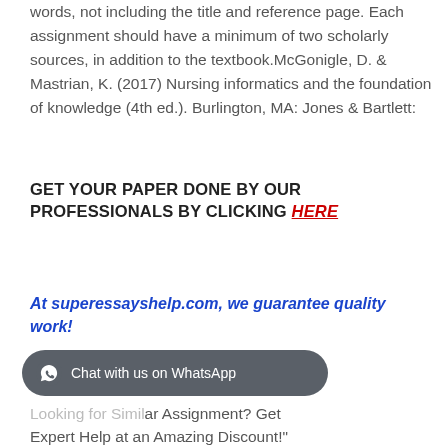words, not including the title and reference page. Each assignment should have a minimum of two scholarly sources, in addition to the textbook.McGonigle, D. & Mastrian, K. (2017) Nursing informatics and the foundation of knowledge (4th ed.). Burlington, MA: Jones & Bartlett:
GET YOUR PAPER DONE BY OUR PROFESSIONALS BY CLICKING HERE
At superessayshelp.com, we guarantee quality work!
Looking for Similar Assignment? Get Expert Help at an Amazing Discount!"